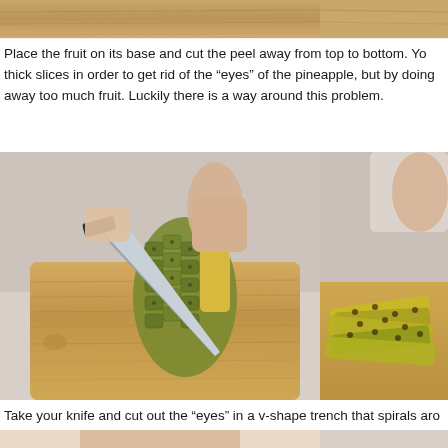[Figure (photo): Top portion of two side-by-side food preparation photos, partially cropped at top of page — showing wooden cutting board surfaces.]
Place the fruit on its base and cut the peel away from top to bottom. You may need to cut thick slices in order to get rid of the "eyes" of the pineapple, but by doing so you cut away too much fruit. Luckily there is a way around this problem.
[Figure (photo): Left photo: Person's hands holding a pineapple standing upright on a wooden cutting board while cutting the peel away with a large knife. Right photo (partially visible): Pile of cut pineapple peel slices with eyes on a wooden cutting board.]
Take your knife and cut out the "eyes" in a v-shape trench that spirals aro…
[Figure (photo): Bottom portion of two side-by-side photos, partially cropped — showing hands working with pineapple.]